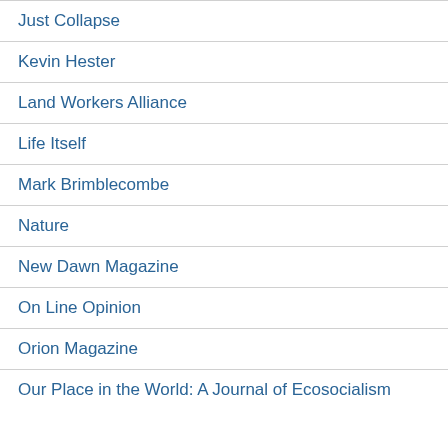Just Collapse
Kevin Hester
Land Workers Alliance
Life Itself
Mark Brimblecombe
Nature
New Dawn Magazine
On Line Opinion
Orion Magazine
Our Place in the World: A Journal of Ecosocialism